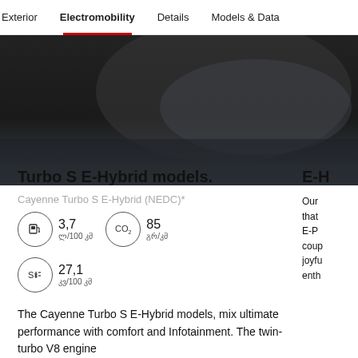Exterior | Electromobility | Details | Models & Data
[Figure (photo): Dark interior/exterior car photo, mostly shadows and dark tones]
Turbo S E-Hybrid models.
Cayenne Turbo S E-Hybrid (NEDC)*
3,7 ლ/100 კმ | 85 გრ/კმ | 27,1 კვ/100 კმ
The Cayenne Turbo S E-Hybrid models, mix ultimate performance with comfort and Infotainment. The twin-turbo V8 engine
E-H
Our
that
E-P
coup
joyfu
enth